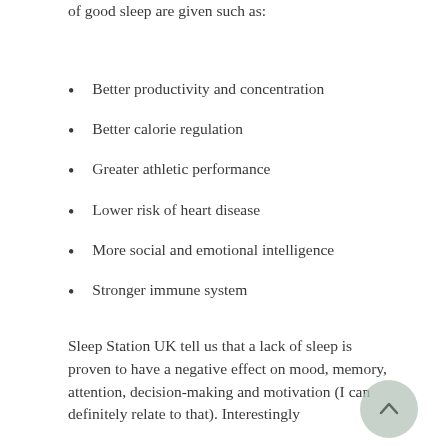of good sleep are given such as:
Better productivity and concentration
Better calorie regulation
Greater athletic performance
Lower risk of heart disease
More social and emotional intelligence
Stronger immune system
Sleep Station UK tell us that a lack of sleep is proven to have a negative effect on mood, memory, attention, decision-making and motivation (I can definitely relate to that). Interestingly